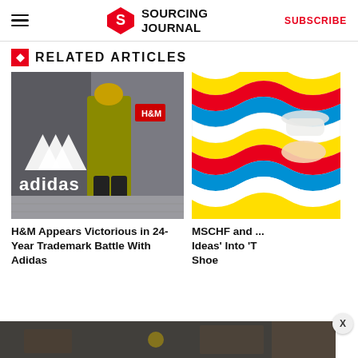SOURCING JOURNAL | SUBSCRIBE
RELATED ARTICLES
[Figure (photo): Person in yellow jacket and helmet walking past an Adidas store sign on a grey building, with H&M sign visible in background]
H&M Appears Victorious in 24-Year Trademark Battle With Adidas
[Figure (photo): Colorful wavy stripes pattern in blue, red, yellow, white with a hand holding a white sneaker]
MSCHF and ... Ideas' Into 'T Shoe
[Figure (photo): Partial bottom banner image showing dark interior scene]